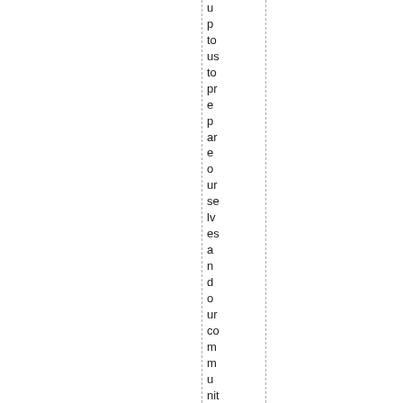up to us to prepare ourselves and our community. Ther of